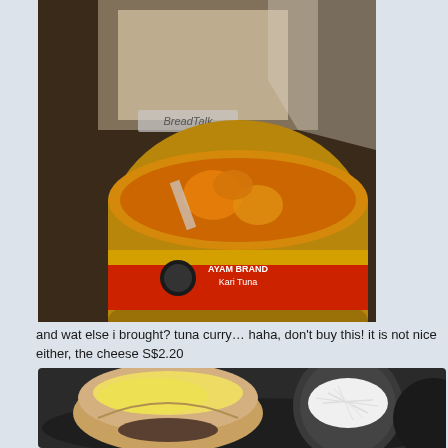[Figure (photo): Photo of an open tuna curry can (Ayam Brand, Kari Tuna) with orange curry contents visible, placed in front of a BreadTalk bread bag on a dark surface.]
and wat else i brought? tuna curry… haha, don't buy this! it is not nice either, the cheese S$2.20
[Figure (photo): Photo of a meal on a dark plate: a bread roll with melted cheese on top, a bowl of shredded white food (possibly coconut or coleslaw), and a dark bowl on the right side.]